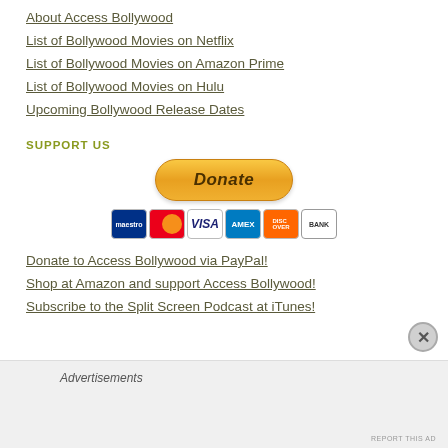About Access Bollywood
List of Bollywood Movies on Netflix
List of Bollywood Movies on Amazon Prime
List of Bollywood Movies on Hulu
Upcoming Bollywood Release Dates
SUPPORT US
[Figure (other): PayPal donate button with payment card icons (Maestro, MasterCard, Visa, Amex, Discover, Bank)]
Donate to Access Bollywood via PayPal!
Shop at Amazon and support Access Bollywood!
Subscribe to the Split Screen Podcast at iTunes!
Advertisements